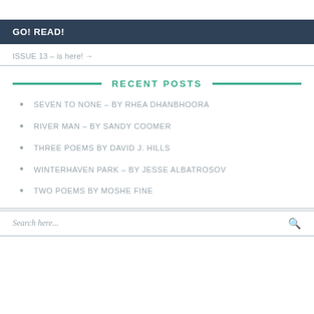GO! READ!
ISSUE 13 – is here! →
RECENT POSTS
SEVEN TO NONE – BY RHEA DHANBHOORA
RIVER MAN – BY SANDY COOMER
THREE POEMS BY DAVID J. HILLS
WINTERHAVEN PARK – BY JESSE ALBATROSOV
TWO POEMS BY MOSHE FINE
Search here...